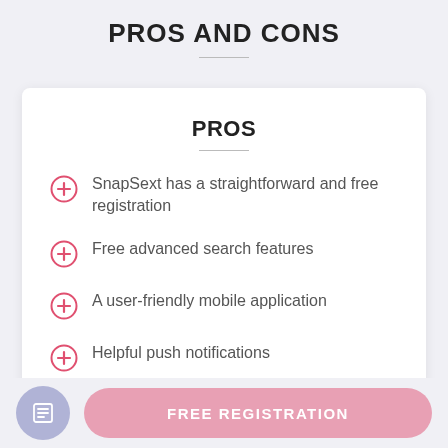PROS AND CONS
PROS
SnapSext has a straightforward and free registration
Free advanced search features
A user-friendly mobile application
Helpful push notifications
FREE REGISTRATION